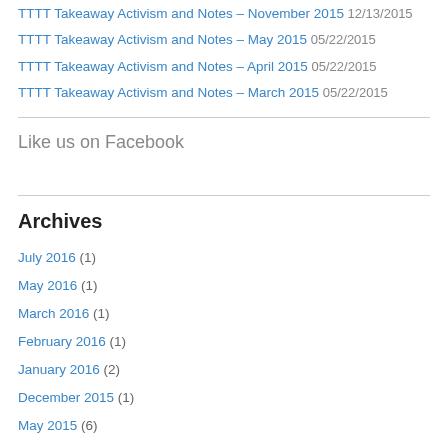TTTT Takeaway Activism and Notes – November 2015 12/13/2015
TTTT Takeaway Activism and Notes – May 2015 05/22/2015
TTTT Takeaway Activism and Notes – April 2015 05/22/2015
TTTT Takeaway Activism and Notes – March 2015 05/22/2015
Like us on Facebook
Archives
July 2016 (1)
May 2016 (1)
March 2016 (1)
February 2016 (1)
January 2016 (2)
December 2015 (1)
May 2015 (6)